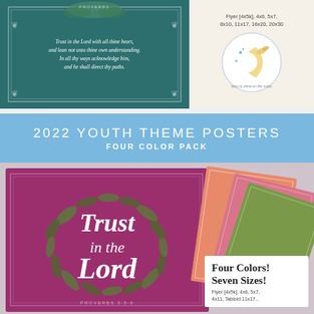[Figure (illustration): Teal/dark green decorative poster with white botanical border and white script text reading 'Trust in the Lord with all thine heart, and lean not unto thine own understanding. In all thy ways acknowledge him, and he shall direct thy paths.' Proverbs 3:5-6]
[Figure (illustration): Beige background with size listing text and a circular illustrated sticker of a crescent moon with a butterfly and stars]
Flyer [4x5k], 4x6, 5x7, 8x10, 11x17, 16x20, 20x30
2022 YOUTH THEME POSTERS
FOUR COLOR PACK
[Figure (illustration): Magenta/burgundy poster with gold and green botanical wreath and white script 'Trust in the Lord' text, overlapping with smaller salmon/orange and pink and green versions of the same poster]
Four Colors!
Seven Sizes!
Flyer [4x5k], 4x6, 5x7,